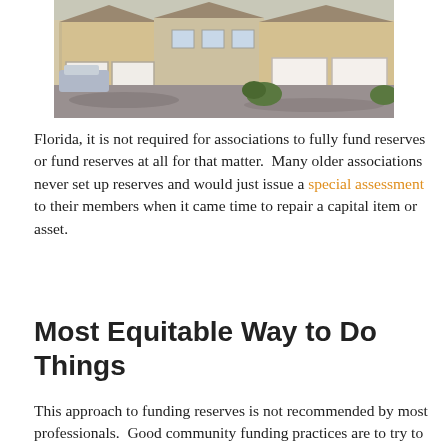[Figure (photo): Exterior photo of townhouses/condominiums with garages and a parking area, showing a residential community setting.]
Florida, it is not required for associations to fully fund reserves or fund reserves at all for that matter.  Many older associations never set up reserves and would just issue a special assessment to their members when it came time to repair a capital item or asset.
Most Equitable Way to Do Things
This approach to funding reserves is not recommended by most professionals.  Good community funding practices are to try to fully